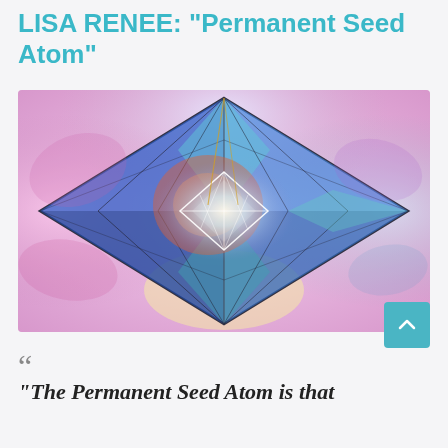LISA RENEE: "Permanent Seed Atom"
[Figure (illustration): A colorful digital geometric artwork showing a faceted diamond/octahedron shape with blue, teal, and dark triangular facets, a glowing white central diamond form, surrounded by pink/magenta and yellow cloudlike haze on a light background.]
“
“The Permanent Seed Atom is that which contains the Divine Christ...